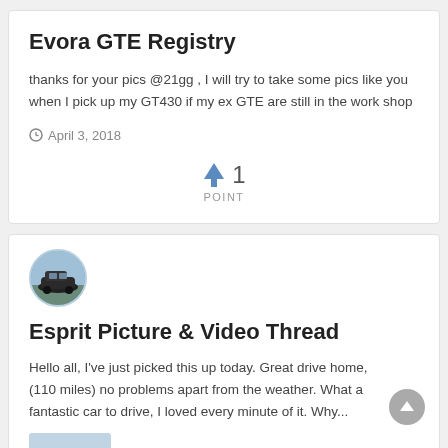Evora GTE Registry
thanks for your pics @21gg , I will try to take some pics like you when I pick up my GT430 if my ex GTE are still in the work shop
April 3, 2018
1 POINT
[Figure (photo): Circular avatar photo of a car]
Esprit Picture & Video Thread
Hello all, I've just picked this up today. Great drive home, (110 miles) no problems apart from the weather. What a fantastic car to drive, I loved every minute of it. Why...